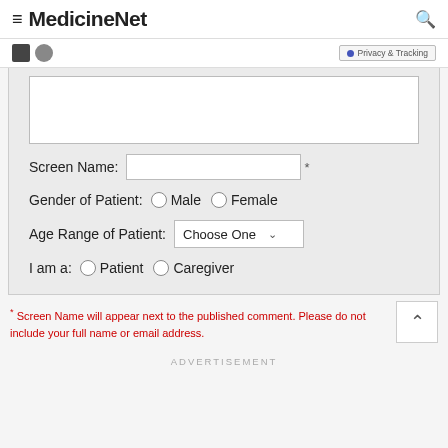MedicineNet
Screen Name: * [text input]
Gender of Patient: Male Female
Age Range of Patient: Choose One
I am a: Patient Caregiver
* Screen Name will appear next to the published comment. Please do not include your full name or email address.
ADVERTISEMENT